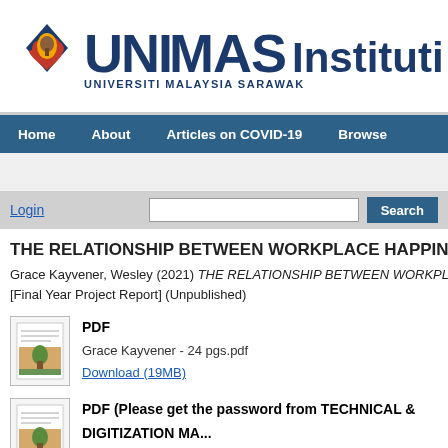[Figure (logo): UNIMAS Institutional Repository logo with university crest and text UNIMAS Institutional Repository, UNIVERSITI MALAYSIA SARAWAK]
Home | About | Articles on COVID-19 | Browse
Login
THE RELATIONSHIP BETWEEN WORKPLACE HAPPINE...
Grace Kayvener, Wesley (2021) THE RELATIONSHIP BETWEEN WORKPLAC... [Final Year Project Report] (Unpublished)
PDF
Grace Kayvener - 24 pgs.pdf
Download (19MB)
PDF (Please get the password from TECHNICAL & DIGITIZATION MA...
Grace Kayvener.pdf
Restricted to Registered users only